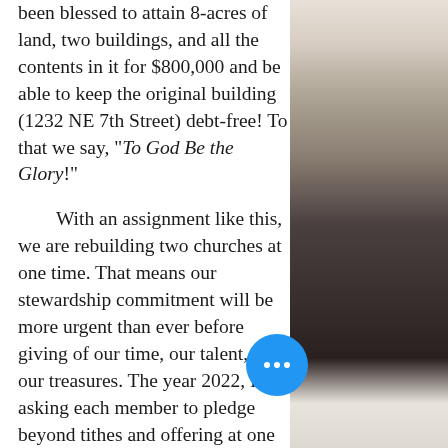been blessed to attain 8-acres of land, two buildings, and all the contents in it for $800,000 and be able to keep the original building (1232 NE 7th Street) debt-free! To that we say, "To God Be the Glory!"
With an assignment like this, we are rebuilding two churches at one time. That means our stewardship commitment will be more urgent than ever before giving of our time, our talent, and our treasures. The year 2022, I'm asking each member to pledge beyond tithes and offering at one of three levels: $1,000 | $500 | $365. I believe that every person can be
[Figure (photo): Photo of people in a church or gathering setting, partially visible on the right side of the page]